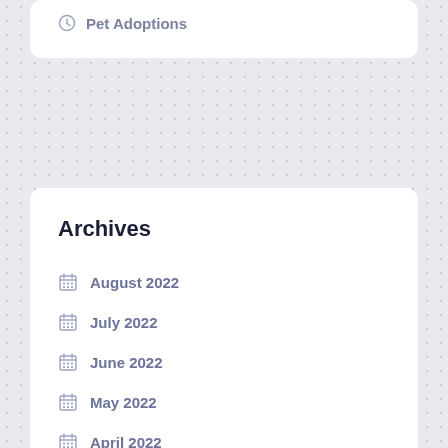Pet Adoptions
Archives
August 2022
July 2022
June 2022
May 2022
April 2022
March 2022
February 2022
January 2022